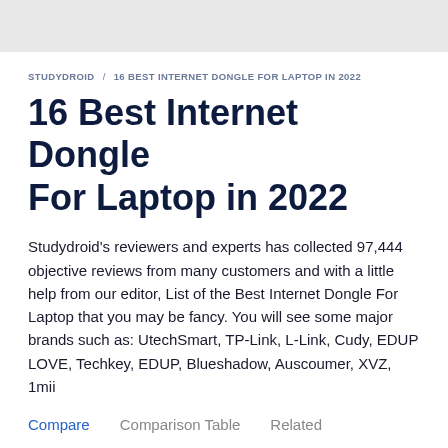STUDYDROID / 16 BEST INTERNET DONGLE FOR LAPTOP IN 2022
16 Best Internet Dongle For Laptop in 2022
Studydroid's reviewers and experts has collected 97,444 objective reviews from many customers and with a little help from our editor, List of the Best Internet Dongle For Laptop that you may be fancy. You will see some major brands such as: UtechSmart, TP-Link, L-Link, Cudy, EDUP LOVE, Techkey, EDUP, Blueshadow, Auscoumer, XVZ, 1mii
Compare
Comparison Table
Related